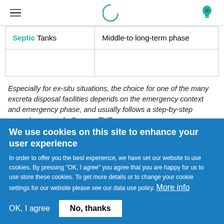Navigation bar with hamburger menu, logo icon, and lightbulb icon
| Septic Tanks | Middle-to long-term phase |
Especially for ex-situ situations, the choice for one of the many excreta disposal facilities depends on the emergency context and emergency phase, and usually follows a step-by-step upgrade approach. Source: THE
We use cookies on this site to enhance your user experience
In order to offer you the best experience, we have set our website to use cookies. By pressing "OK, I agree" you agree that you are happy for us to use store these cookies. To get more details or to change your cookie settings for our website please see our data use policy. More info
OK, I agree   No, thanks